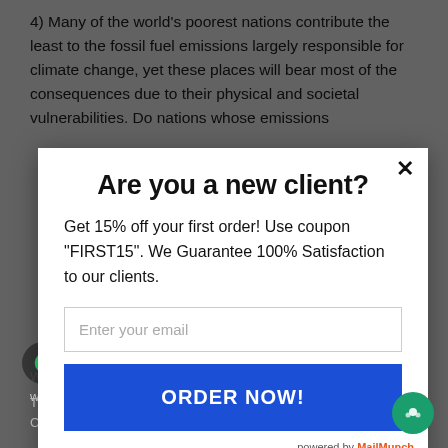4) Many of the world's poorest nations contribute the least to the fossil fuel emissions largely responsible for climate change, yet these places will bear most of the consequences due to their physical and societal vulnerabilities. Do nations whose emissions
Are you a new client?
Get 15% off your first order! Use coupon "FIRST15". We Guarantee 100% Satisfaction to our clients.
Enter your email
ORDER NOW!
powered by MailMunch
Why or why not? Fully back up your opinion with sources and well-informed points.
Chat with us on WhatsApp
The New York Times/Jennifer Cutrard/The Learning Network